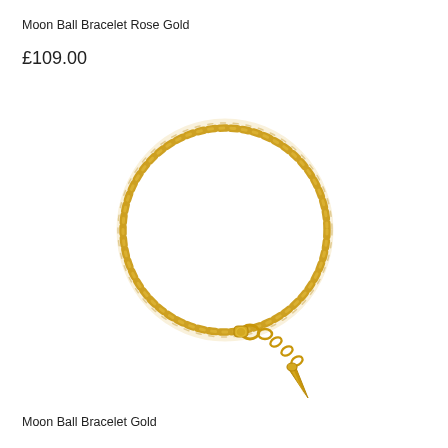Moon Ball Bracelet Rose Gold
£109.00
[Figure (photo): A gold ball chain bracelet forming a circle, with a lobster clasp, extension chain, and a small spike pendant dangling at the bottom.]
Moon Ball Bracelet Gold